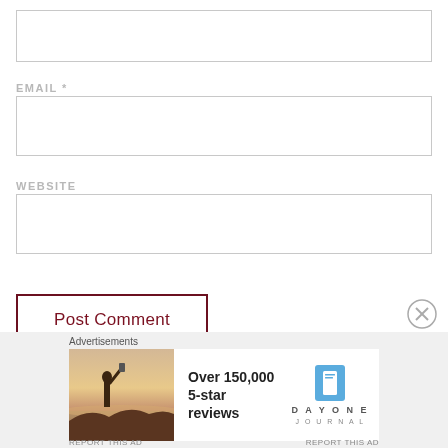[Figure (screenshot): Empty text input box (first field, top of page, no label visible)]
EMAIL *
[Figure (screenshot): Empty email input box]
WEBSITE
[Figure (screenshot): Empty website input box]
Post Comment
Advertisements
[Figure (photo): Advertisement banner: person photographing a sunset, with Over 150,000 5-star reviews text and Day One Journal logo]
REPORT THIS AD
REPORT THIS AD